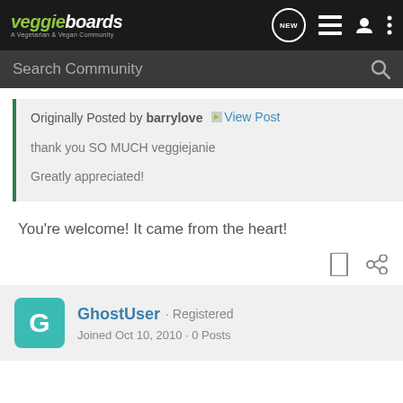[Figure (screenshot): VeggieBoards community forum website header with logo and navigation icons]
Search Community
Originally Posted by barrylove View Post

thank you SO MUCH veggiejanie

Greatly appreciated!
You're welcome! It came from the heart!
GhostUser · Registered
Joined Oct 10, 2010 · 0 Posts